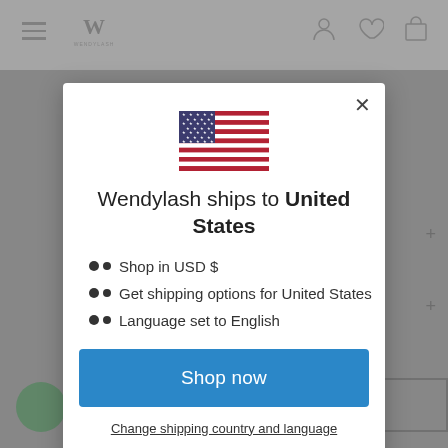[Figure (screenshot): Background website page showing Wendylash e-commerce site navigation bar with hamburger menu, logo, user/heart/cart icons, partially visible product page with price $16.77 and add to cart button]
[Figure (illustration): United States flag emoji/icon centered in modal]
Wendylash ships to United States
Shop in USD $
Get shipping options for United States
Language set to English
Shop now
Change shipping country and language